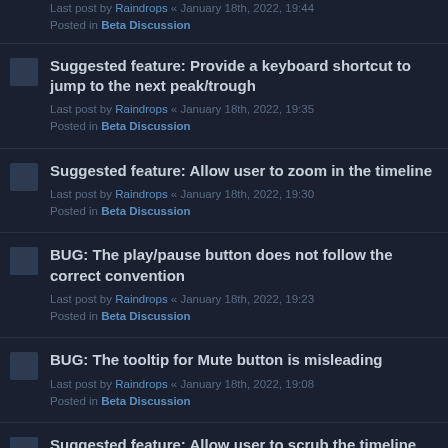Last post by Raindrops « January 18th, 2022, 19:44
Posted in Beta Discussion
Suggested feature: Provide a keyboard shortcut to jump to the next peak/trough
Last post by Raindrops « January 18th, 2022, 19:35
Posted in Beta Discussion
Suggested feature: Allow user to zoom in the timeline
Last post by Raindrops « January 18th, 2022, 19:30
Posted in Beta Discussion
BUG: The play/pause button does not follow the correct convention
Last post by Raindrops « January 18th, 2022, 19:23
Posted in Beta Discussion
BUG: The tooltip for Mute button is misleading
Last post by Raindrops « January 18th, 2022, 19:08
Posted in Beta Discussion
Suggested feature: Allow user to scrub the timeline (drag the mouse to hear sound at that point)